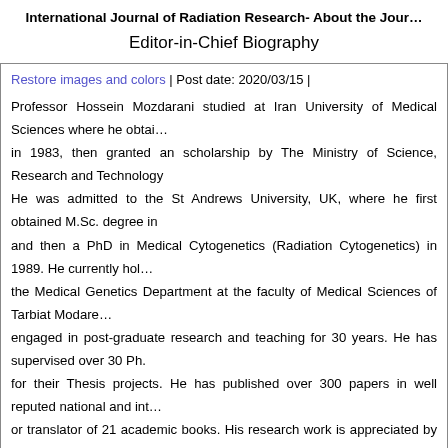International Journal of Radiation Research- About the Journal
Editor-in-Chief Biography
Restore images and colors | Post date: 2020/03/15 |
Professor Hossein Mozdarani studied at Iran University of Medical Sciences where he obtained in 1983, then granted an scholarship by The Ministry of Science, Research and Technology. He was admitted to the St Andrews University, UK, where he first obtained M.Sc. degree in and then a PhD in Medical Cytogenetics (Radiation Cytogenetics) in 1989. He currently holds the Medical Genetics Department at the faculty of Medical Sciences of Tarbiat Modares engaged in post-graduate research and teaching for 30 years. He has supervised over 30 Ph.D for their Thesis projects. He has published over 300 papers in well reputed national and international or translator of 21 academic books. His research work is appreciated by various awards from such as Kharizmi international, Razi Medical Research and Royan international awards. radiobiology and radiation genetic toxicology in Iran and has a broad background in radiation as well as chemical and environmental factors affecting human health. His main instability induced by physico-chemical agents leading to carcinogenesis and ill health such new class of chemicals as radiation countermeasure which may be beneficial for cancer